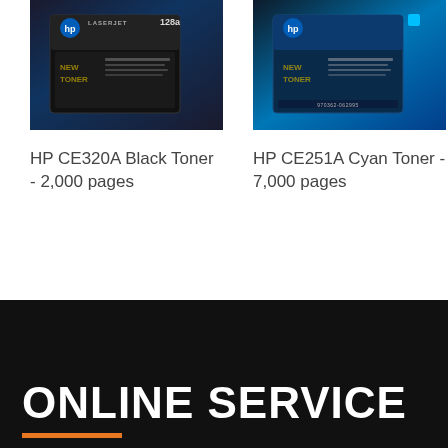[Figure (photo): HP LaserJet 128a Black Toner cartridge product photo]
[Figure (photo): HP CE251A Cyan Toner cartridge product photo]
HP CE320A Black Toner - 2,000 pages
HP CE251A Cyan Toner - 7,000 pages
ONLINE SERVICE